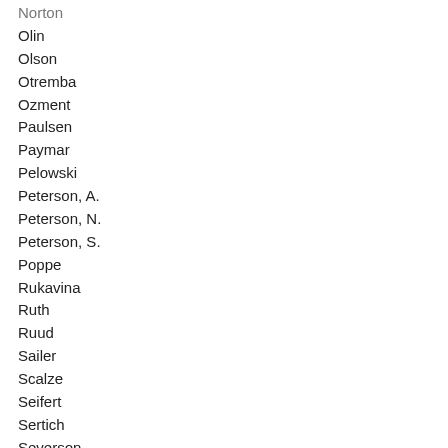Norton
Olin
Olson
Otremba
Ozment
Paulsen
Paymar
Pelowski
Peterson, A.
Peterson, N.
Peterson, S.
Poppe
Rukavina
Ruth
Ruud
Sailer
Scalze
Seifert
Sertich
Severson
Shimanski
Simon
Simpson
Slawik
Slocum
Smith
Solberg
Sviggum
Swails
Thao